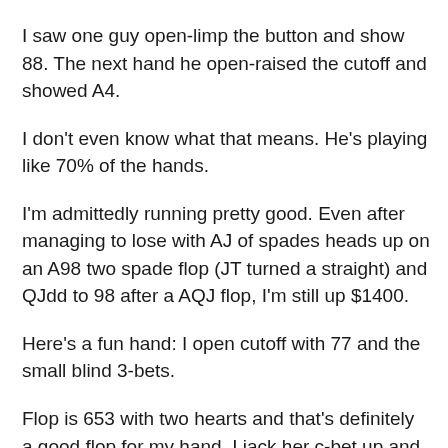I saw one guy open-limp the button and show 88. The next hand he open-raised the cutoff and showed A4.
I don't even know what that means. He's playing like 70% of the hands.
I'm admittedly running pretty good. Even after managing to lose with AJ of spades heads up on an A98 two spade flop (JT turned a straight) and QJdd to 98 after a AQJ flop, I'm still up $1400.
Here's a fun hand: I open cutoff with 77 and the small blind 3-bets.
Flop is 653 with two hearts and that's definitely a good flop for my hand. I jack her c-bet up and she just calls.
Turn is a queen and I check-back because I have zero